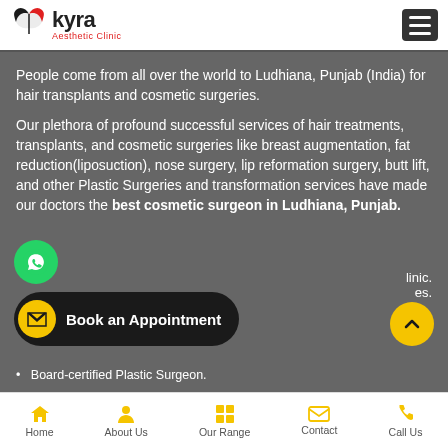[Figure (logo): Kyra Aesthetic Clinic logo with bird/wing icon and red subtitle text]
People come from all over the world to Ludhiana, Punjab (India) for hair transplants and cosmetic surgeries.
Our plethora of profound successful services of hair treatments, transplants, and cosmetic surgeries like breast augmentation, fat reduction(liposuction), nose surgery, lip reformation surgery, butt lift, and other Plastic Surgeries and transformation services have made our doctors the best cosmetic surgeon in Ludhiana, Punjab.
Board-certified Plastic Surgeon.
[Figure (screenshot): Book an Appointment button overlay with envelope icon]
Home  About Us  Our Range  Contact  Call Us